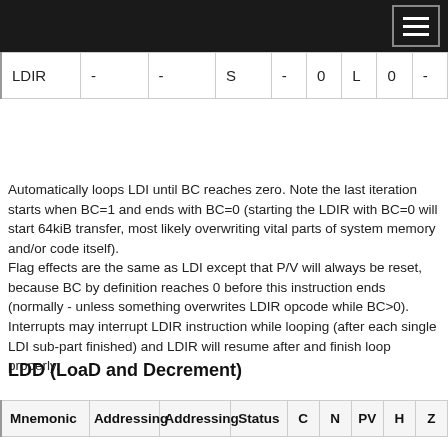| Mnemonic | Addressing | Addressing | Status | C | N | PV | H | Z |
| --- | --- | --- | --- | --- | --- | --- | --- | --- |
| LDIR | - | - | S | - | 0 | L | 0 | - |
Automatically loops LDI until BC reaches zero. Note the last iteration starts when BC=1 and ends with BC=0 (starting the LDIR with BC=0 will start 64kiB transfer, most likely overwriting vital parts of system memory and/or code itself).
Flag effects are the same as LDI except that P/V will always be reset, because BC by definition reaches 0 before this instruction ends (normally - unless something overwrites LDIR opcode while BC>0).
Interrupts may interrupt LDIR instruction while looping (after each single LDI sub-part finished) and LDIR will resume after and finish loop properly.
LDD (LoaD and Decrement)
| Mnemonic | Addressing | Addressing | Status | C | N | PV | H | Z |
| --- | --- | --- | --- | --- | --- | --- | --- | --- |